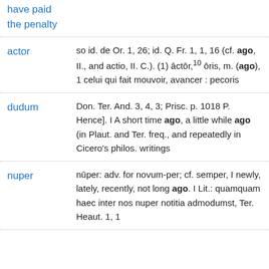have paid
the penalty
actor: so id. de Or. 1, 26; id. Q. Fr. 1, 1, 16 (cf. ago, II., and actio, II. C.). (1) āctōr,¹⁰ ōris, m. (ago), 1 celui qui fait mouvoir, avancer : pecoris
dudum: Don. Ter. And. 3, 4, 3; Prisc. p. 1018 P. Hence]. I A short time ago, a little while ago (in Plaut. and Ter. freq., and repeatedly in Cicero's philos. writings
nuper: nūper: adv. for novum-per; cf. semper, I newly, lately, recently, not long ago. I Lit.: quamquam haec inter nos nuper notitia admodumst, Ter. Heaut. 1, 1